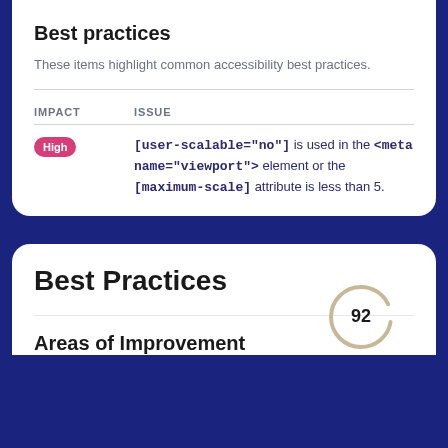Best practices
These items highlight common accessibility best practices.
| IMPACT | ISSUE |
| --- | --- |
| High | [user-scalable="no"] is used in the <meta name="viewport"> element or the [maximum-scale] attribute is less than 5. |
Best Practices
92
Areas of Improvement